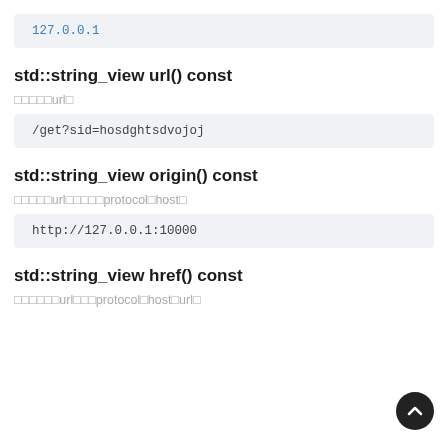127.0.0.1
std::string_view url() const
返回urlを
/get?sid=hosdghtsdvojoj
std::string_view origin() const
返回urlのprotocol和host。
http://127.0.0.1:10000
std::string_view href() const
返回urlのprotocol和host和url。